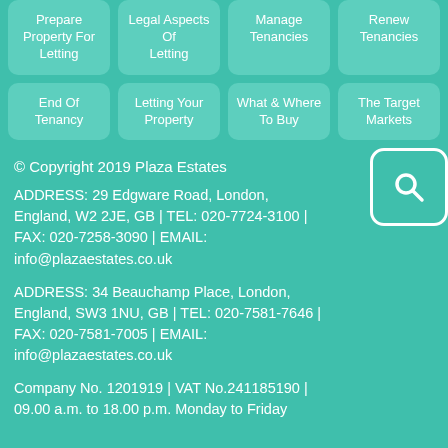Prepare Property For Letting
Legal Aspects Of Letting
Manage Tenancies
Renew Tenancies
End Of Tenancy
Letting Your Property
What & Where To Buy
The Target Markets
© Copyright 2019 Plaza Estates
ADDRESS: 29 Edgware Road, London, England, W2 2JE, GB | TEL: 020-7724-3100 | FAX: 020-7258-3090 | EMAIL: info@plazaestates.co.uk
ADDRESS: 34 Beauchamp Place, London, England, SW3 1NU, GB | TEL: 020-7581-7646 | FAX: 020-7581-7005 | EMAIL: info@plazaestates.co.uk
Company No. 1201919 | VAT No.241185190 | 09.00 a.m. to 18.00 p.m. Monday to Friday